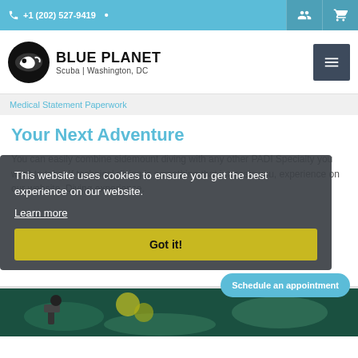+1 (202) 527-9419
[Figure (logo): Blue Planet Scuba | Washington, DC logo with circular black icon showing a diver]
Medical Statement Paperwork
Your Next Adventure
You can easily combine sidemount diving with any other PADI Specialty you want to take. If technical diving is something that interests you, experience on our website. Diving experience.
This website uses cookies to ensure you get the best experience on our website.
Learn more
Got it!
Schedule an appointment
[Figure (photo): Underwater scuba diving photo showing diver with equipment in green tinted water]